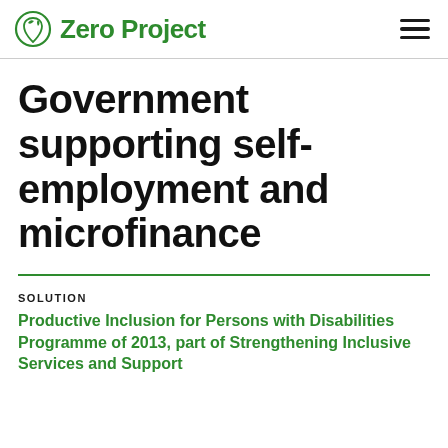Zero Project
Government supporting self-employment and microfinance
SOLUTION
Productive Inclusion for Persons with Disabilities Programme of 2013, part of Strengthening Inclusive Services and Support